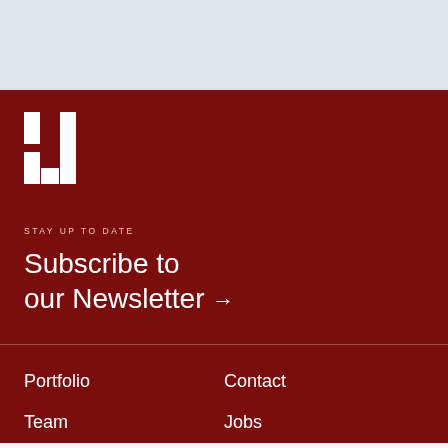[Figure (logo): White geometric H-like logo mark on dark red background, made of rectangular blocks]
STAY UP TO DATE
Subscribe to our Newsletter →
Portfolio
Contact
Team
Jobs